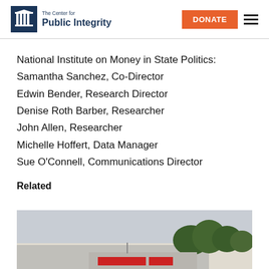The Center for Public Integrity — DONATE
National Institute on Money in State Politics:
Samantha Sanchez, Co-Director
Edwin Bender, Research Director
Denise Roth Barber, Researcher
John Allen, Researcher
Michelle Hoffert, Data Manager
Sue O'Connell, Communications Director
Related
[Figure (photo): Outdoor photo showing a building rooftop or billboard with trees in the background and a cloudy sky]